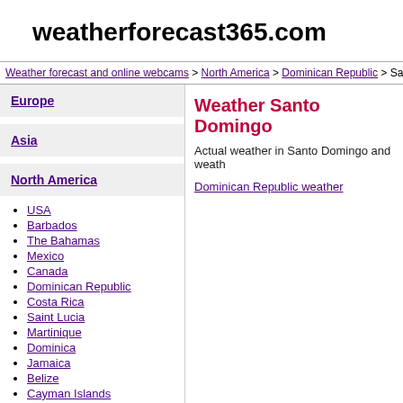weatherforecast365.com
Weather forecast and online webcams > North America > Dominican Republic > Santo D
Europe
Asia
North America
USA
Barbados
The Bahamas
Mexico
Canada
Dominican Republic
Costa Rica
Saint Lucia
Martinique
Dominica
Jamaica
Belize
Cayman Islands
Cuba
Aruba
Weather Santo Domingo
Actual weather in Santo Domingo and weath
Dominican Republic weather